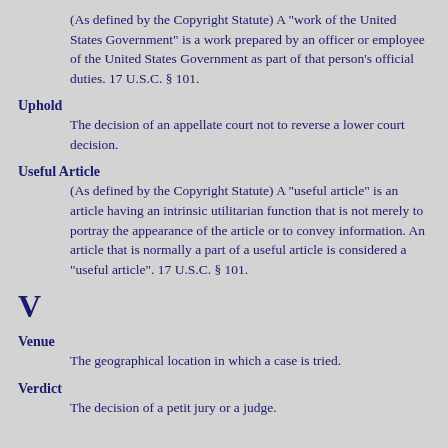(As defined by the Copyright Statute) A "work of the United States Government" is a work prepared by an officer or employee of the United States Government as part of that person's official duties. 17 U.S.C. § 101.
Uphold
The decision of an appellate court not to reverse a lower court decision.
Useful Article
(As defined by the Copyright Statute) A "useful article" is an article having an intrinsic utilitarian function that is not merely to portray the appearance of the article or to convey information. An article that is normally a part of a useful article is considered a "useful article". 17 U.S.C. § 101.
V
Venue
The geographical location in which a case is tried.
Verdict
The decision of a petit jury or a judge.